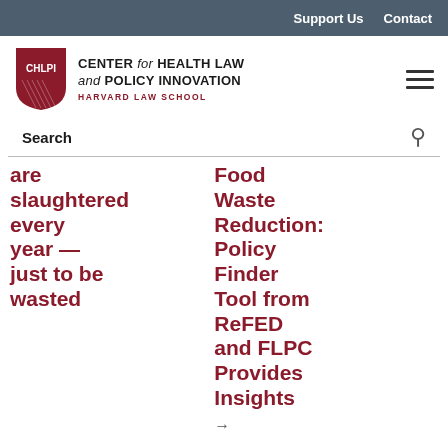Support Us   Contact
[Figure (logo): CHLPI shield logo with text: CENTER for HEALTH LAW and POLICY INNOVATION, HARVARD LAW SCHOOL]
Search
are slaughtered every year — just to be wasted
Food Waste Reduction: Policy Finder Tool from ReFED and FLPC Provides Insights →